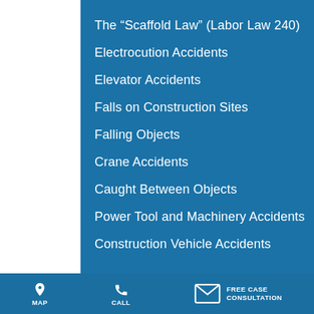The “Scaffold Law” (Labor Law 240)
Electrocution Accidents
Elevator Accidents
Falls on Construction Sites
Falling Objects
Crane Accidents
Caught Between Objects
Power Tool and Machinery Accidents
Construction Vehicle Accidents
MAP   CALL   FREE CASE CONSULTATION